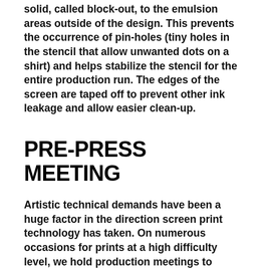solid, called block-out, to the emulsion areas outside of the design. This prevents the occurrence of pin-holes (tiny holes in the stencil that allow unwanted dots on a shirt) and helps stabilize the stencil for the entire production run. The edges of the screen are taped off to prevent other ink leakage and allow easier clean-up.
PRE-PRESS MEETING
Artistic technical demands have been a huge factor in the direction screen print technology has taken. On numerous occasions for prints at a high difficulty level, we hold production meetings to discuss finer points of the design, troubleshoot potential press problems and come up with a plan for executing the print as exactly as possible with the first set up.
SCREEN PREP FOR